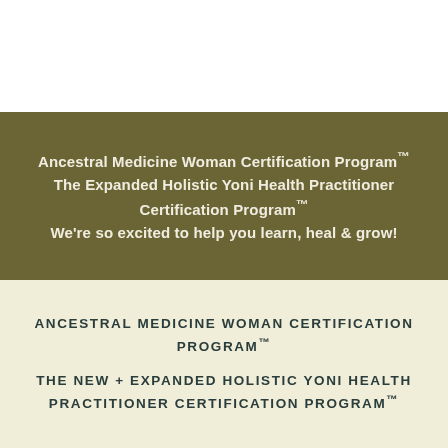Ancestral Medicine Woman Certification Program™
The Expanded Holistic Yoni Health Practitioner Certification Program™
We're so excited to help you learn, heal & grow!
ANCESTRAL MEDICINE WOMAN CERTIFICATION PROGRAM™
THE NEW + EXPANDED HOLISTIC YONI HEALTH PRACTITIONER CERTIFICATION PROGRAM™